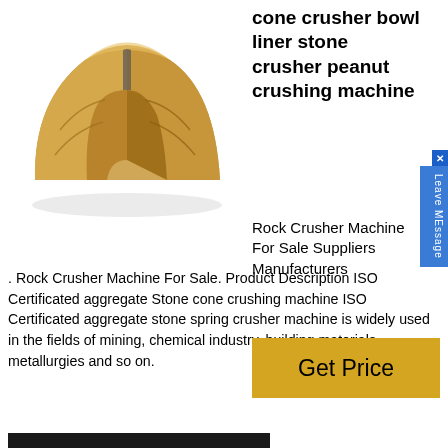[Figure (photo): Gold/bronze colored cone crusher bowl liner component, showing two interlocking semicircular metal pieces against a white background]
cone crusher bowl liner stone crusher peanut crushing machine
Rock Crusher Machine For Sale Suppliers Manufacturers . Rock Crusher Machine For Sale. Product Description ISO Certificated aggregate Stone cone crushing machine ISO Certificated aggregate stone spring crusher machine is widely used in the fields of mining, chemical industry, building materials, metallurgies and so on.
[Figure (other): Get Price button - gold/yellow colored rectangular button with text 'Get Price']